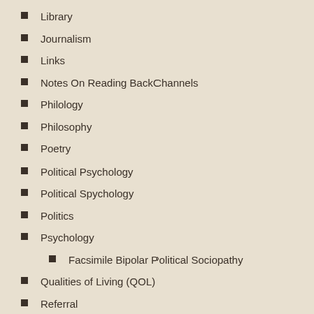Library
Journalism
Links
Notes On Reading BackChannels
Philology
Philosophy
Poetry
Political Psychology
Political Spychology
Politics
Psychology
Facsimile Bipolar Political Sociopathy
Qualities of Living (QOL)
Referral
Regions